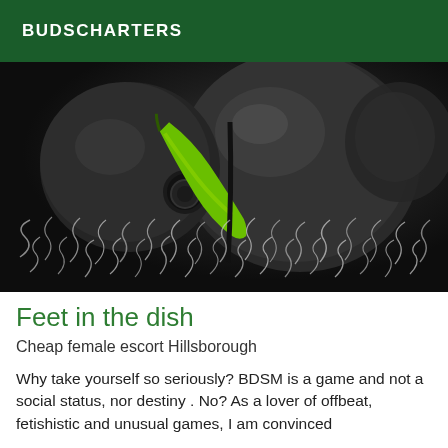BUDSCHARTERS
[Figure (photo): Close-up dark moody photograph of what appears to be shiny black spherical objects with a bright green chili pepper, set against a background with wispy white smoke or fibers.]
Feet in the dish
Cheap female escort Hillsborough
Why take yourself so seriously? BDSM is a game and not a social status, nor destiny . No? As a lover of offbeat, fetishistic and unusual games, I am convinced